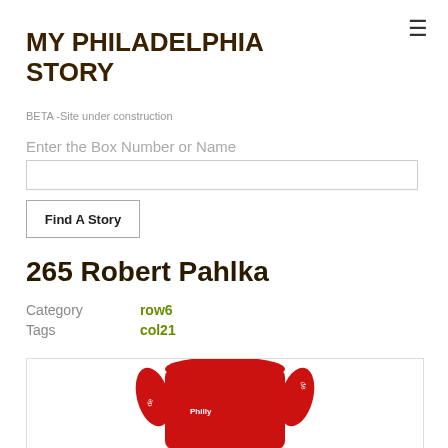≡
MY PHILADELPHIA STORY
BETA -Site under construction
Enter the Box Number or Name
265 Robert Pahlka
Category  row6
Tags  col21
[Figure (photo): Red garment/sweater with white text visible, partially shown at bottom of page]